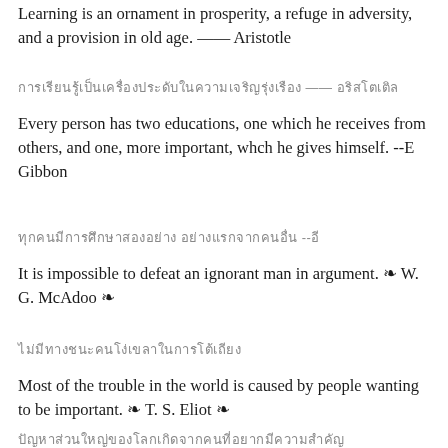Learning is an ornament in prosperity, a refuge in adversity, and a provision in old age.  —— Aristotle
[Thai translation of Aristotle quote]
Every person has two educations, one which he receives from others, and one, more important, whch he gives himself.  --E Gibbon
[Thai translation of Gibbon quote]
It is impossible to defeat an ignorant man in argument. ❧ W. G. McAdoo ❧
[Thai translation of McAdoo quote]
Most of the trouble in the world is caused by people wanting to be important. ❧ T. S. Eliot ❧
[Thai translation of Eliot quote]